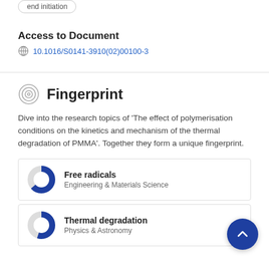end initiation
Access to Document
10.1016/S0141-3910(02)00100-3
Fingerprint
Dive into the research topics of 'The effect of polymerisation conditions on the kinetics and mechanism of the thermal degradation of PMMA'. Together they form a unique fingerprint.
Free radicals
Engineering & Materials Science
Thermal degradation
Physics & Astronomy